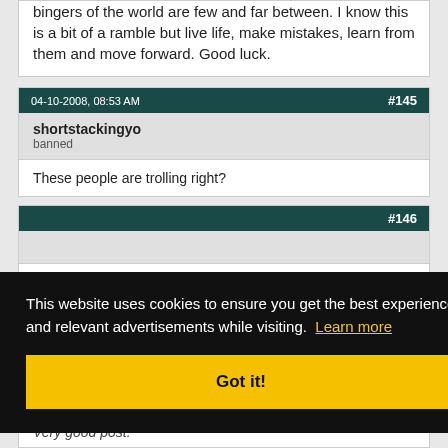bingers of the world are few and far between. I know this is a bit of a ramble but live life, make mistakes, learn from them and move forward. Good luck.
04-10-2008, 08:53 AM  #145
shortstackingyo
banned
These people are trolling right?
#146
[Figure (screenshot): Cookie consent overlay with text: 'This website uses cookies to ensure you get the best experience and relevant advertisements while visiting. Learn more' and a 'Got it!' button.]
Very good post.